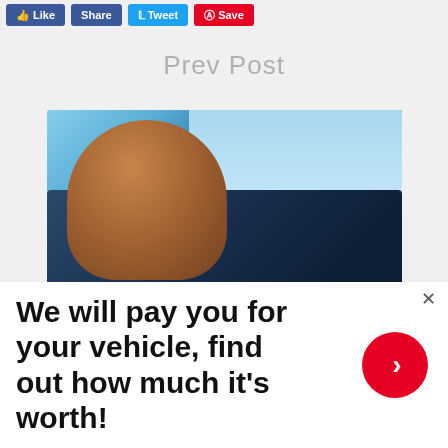Like | Share | Tweet | Save
Prev Post
[Figure (photo): Woman with curly hair and sunglasses leaning out of a convertible car, holding up car keys and making a peace sign, smiling happily against a blue sky background.]
We will pay you for your vehicle, find out how much it's worth!